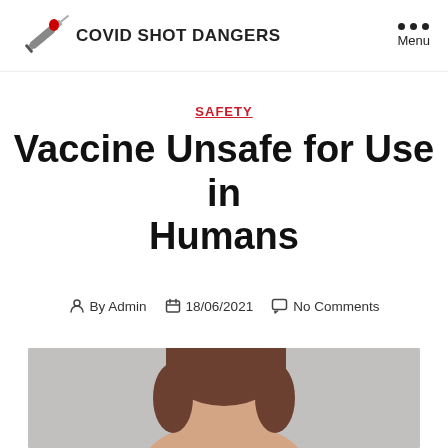COVID SHOT DANGERS
SAFETY
Vaccine Unsafe for Use in Humans
By Admin  18/06/2021  No Comments
[Figure (photo): Partial view of a person with brown hair against a light grey background, cropped showing the top of the head.]